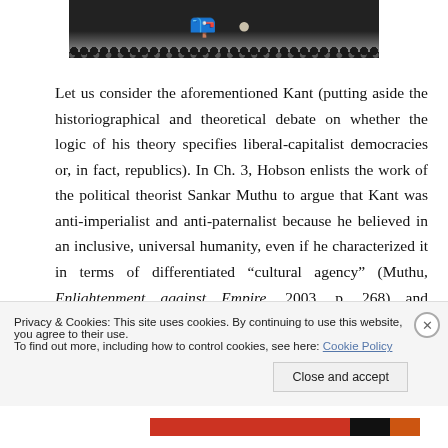[Figure (photo): Top portion of a postage stamp showing decorative perforated edge at bottom, dark background with partial text/imagery visible]
Let us consider the aforementioned Kant (putting aside the historiographical and theoretical debate on whether the logic of his theory specifies liberal-capitalist democracies or, in fact, republics). In Ch. 3, Hobson enlists the work of the political theorist Sankar Muthu to argue that Kant was anti-imperialist and anti-paternalist because he believed in an inclusive, universal humanity, even if he characterized it in terms of differentiated “cultural agency” (Muthu, Enlightenment against Empire, 2003, p. 268) and Eurocentric
Privacy & Cookies: This site uses cookies. By continuing to use this website, you agree to their use.
To find out more, including how to control cookies, see here: Cookie Policy
Close and accept